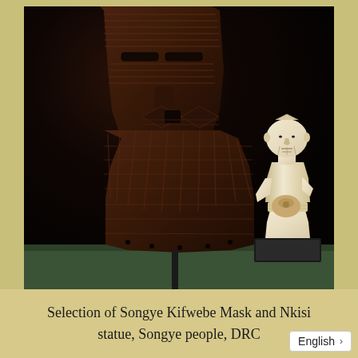[Figure (photo): Photograph of African art objects against a black background: a large dark wooden Songye Kifwebe mask on a stand (left/center), and a smaller pale ivory/bone Nkisi standing figure on a dark square base (right). A green surface is visible at the bottom.]
Selection of Songye Kifwebe Mask and Nkisi statue, Songye people, DRC